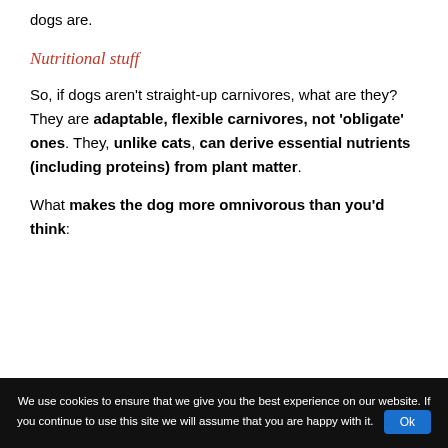dogs are.
Nutritional stuff
So, if dogs aren't straight-up carnivores, what are they? They are adaptable, flexible carnivores, not 'obligate' ones. They, unlike cats, can derive essential nutrients (including proteins) from plant matter.
What makes the dog more omnivorous than you'd think:
We use cookies to ensure that we give you the best experience on our website. If you continue to use this site we will assume that you are happy with it.